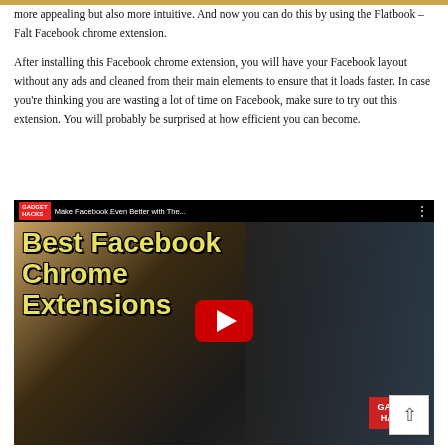more appealing but also more intuitive. And now you can do this by using the Flatbook – Falt Facebook chrome extension.
After installing this Facebook chrome extension, you will have your Facebook layout without any ads and cleaned from their main elements to ensure that it loads faster. In case you're thinking you are wasting a lot of time on Facebook, make sure to try out this extension. You will probably be surprised at how efficient you can become.
[Figure (screenshot): YouTube video thumbnail showing 'Make Facebook Even Better with The... Best Facebook Chrome Extensions' by Gadget Hacks, with a red YouTube play button in the center and a Gadget Hacks logo badge in the bottom right.]